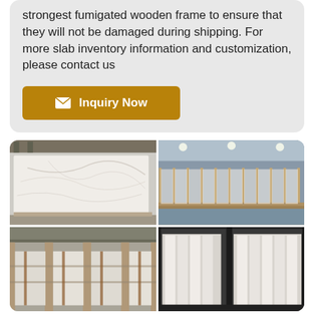strongest fumigated wooden frame to ensure that they will not be damaged during shipping. For more slab inventory information and customization, please contact us
[Figure (other): Golden/amber colored 'Inquiry Now' button with envelope icon]
[Figure (photo): Four-panel warehouse photo grid showing: (top-left) white marble slab with grey veining leaning against warehouse wall; (top-right) rows of marble slabs stored vertically in wooden A-frame racks in a large warehouse; (bottom-left) multiple white slabs stacked and stored in warehouse; (bottom-right) marble slabs being loaded into a shipping container.]